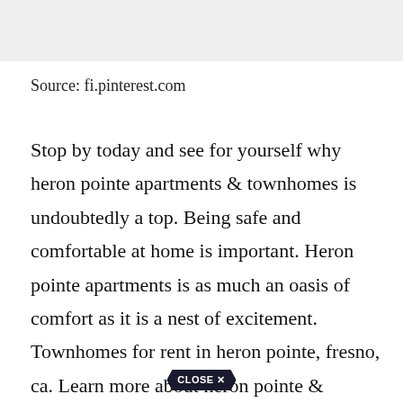[Figure (other): Gray banner/header bar at top of page]
Source: fi.pinterest.com
Stop by today and see for yourself why heron pointe apartments & townhomes is undoubtedly a top. Being safe and comfortable at home is important. Heron pointe apartments is as much an oasis of comfort as it is a nest of excitement. Townhomes for rent in heron pointe, fresno, ca. Learn more about heron pointe &
[Figure (other): Close X button overlay at bottom center]